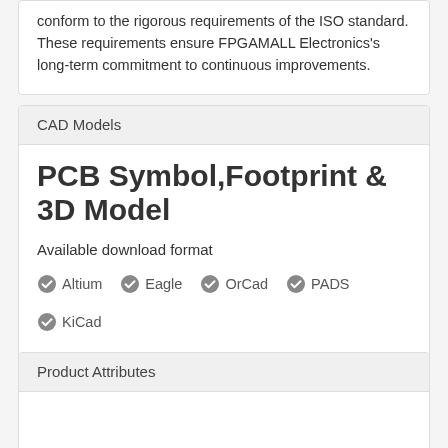conform to the rigorous requirements of the ISO standard. These requirements ensure FPGAMALL Electronics's long-term commitment to continuous improvements.
CAD Models
PCB Symbol,Footprint & 3D Model
Available download format
✅ Altium  ✅ Eagle  ✅ OrCad  ✅ PADS  ✅ KiCad
By downloading CAD models from FPGAMALL, you agree to our Terms & Conditions and Privacy Policy.
Product Attributes